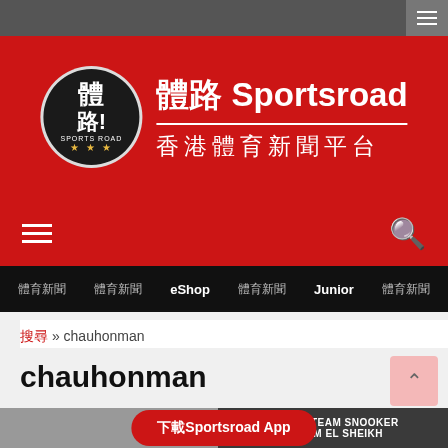[Figure (screenshot): Sports Road website screenshot showing dark top bar with hamburger menu icon]
體路 Sportsroad 香港體育新聞平台
體育 體育新聞 eShop 體育用品 Junior 體育新聞
搜尋 » chauhonman
chauhonman
下載Sportsroad App
WORLD TEAM SNOOKER SHARM EL SHEIKH